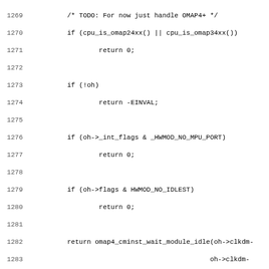Source code listing lines 1269-1301, C kernel code for omap hardware module functions including _wait_module_idle and _lookup_hardreset